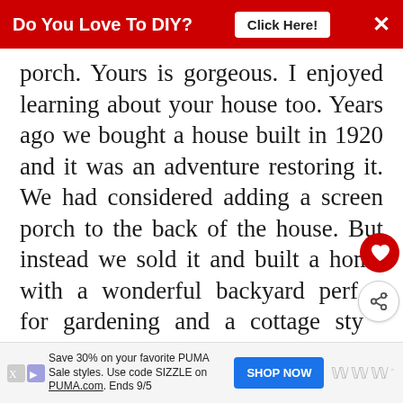Do You Love To DIY? Click Here!
porch. Yours is gorgeous. I enjoyed learning about your house too. Years ago we bought a house built in 1920 and it was an adventure restoring it. We had considered adding a screen porch to the back of the house. But instead we sold it and built a home with a wonderful backyard perf for gardening and a cottage style garden shed. Hugs!
REPLY DELETE
WHAT'S NEXT → Cottage Style Summer...
REPLIES
Save 30% on your favorite PUMA Sale styles. Use code SIZZLE on PUMA.com. Ends 9/5